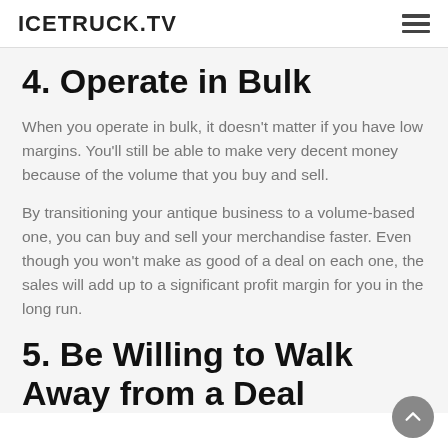ICETRUCK.TV
4. Operate in Bulk
When you operate in bulk, it doesn’t matter if you have low margins. You’ll still be able to make very decent money because of the volume that you buy and sell.
By transitioning your antique business to a volume-based one, you can buy and sell your merchandise faster. Even though you won’t make as good of a deal on each one, the sales will add up to a significant profit margin for you in the long run.
5. Be Willing to Walk Away from a Deal